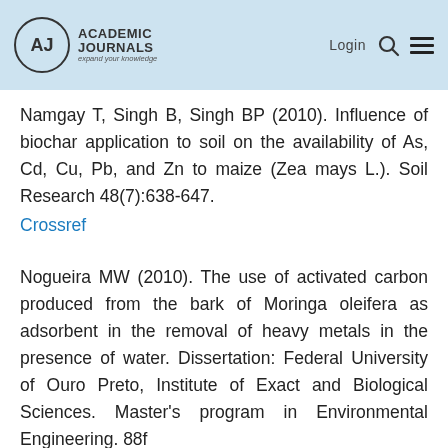Academic Journals — Login
Namgay T, Singh B, Singh BP (2010). Influence of biochar application to soil on the availability of As, Cd, Cu, Pb, and Zn to maize (Zea mays L.). Soil Research 48(7):638-647.
Crossref
Nogueira MW (2010). The use of activated carbon produced from the bark of Moringa oleifera as adsorbent in the removal of heavy metals in the presence of water. Dissertation: Federal University of Ouro Preto, Institute of Exact and Biological Sciences. Master's program in Environmental Engineering. 88f.